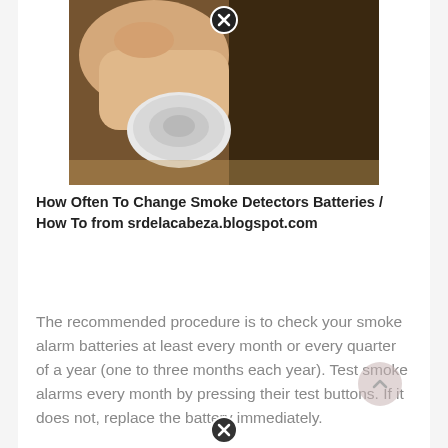[Figure (photo): A hand holding a smoke detector device, with a dark brown background. A close/dismiss button (circle with X) overlays the top center of the image.]
How Often To Change Smoke Detectors Batteries / How To from srdelacabeza.blogspot.com
The recommended procedure is to check your smoke alarm batteries at least every month or every quarter of a year (one to three months each year). Test smoke alarms every month by pressing their test buttons. If it does not, replace the battery immediately.